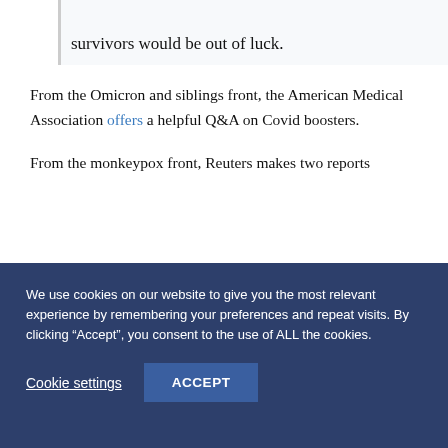survivors would be out of luck.
From the Omicron and siblings front, the American Medical Association offers a helpful Q&A on Covid boosters.
From the monkeypox front, Reuters makes two reports
We use cookies on our website to give you the most relevant experience by remembering your preferences and repeat visits. By clicking “Accept”, you consent to the use of ALL the cookies.
Cookie settings
ACCEPT